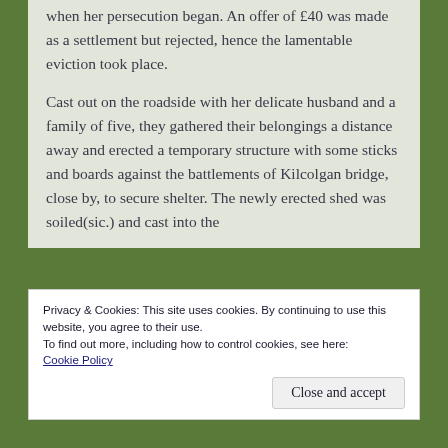We admit there was £55 due of Mrs Greally when her persecution began. An offer of £40 was made as a settlement but rejected, hence the lamentable eviction took place.
Cast out on the roadside with her delicate husband and a family of five, they gathered their belongings a distance away and erected a temporary structure with some sticks and boards against the battlements of Kilcolgan bridge, close by, to secure shelter. The newly erected shed was soiled(sic.) and cast into the
Privacy & Cookies: This site uses cookies. By continuing to use this website, you agree to their use.
To find out more, including how to control cookies, see here: Cookie Policy
Close and accept